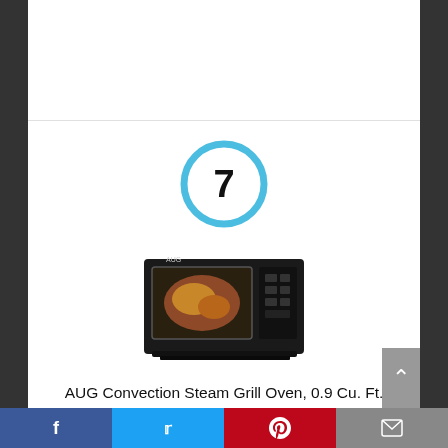[Figure (other): Number 7 inside a blue circle, used as a ranking badge]
[Figure (photo): AUG Convection Steam Grill Oven product photo showing a black countertop oven with food cooking inside]
AUG Convection Steam Grill Oven, 0.9 Cu. Ft. Smart Household Countertop Combi Steamer with 8 Cooking Modes, Matte Black Stainless
Facebook | Twitter | Pinterest | Email social share bar